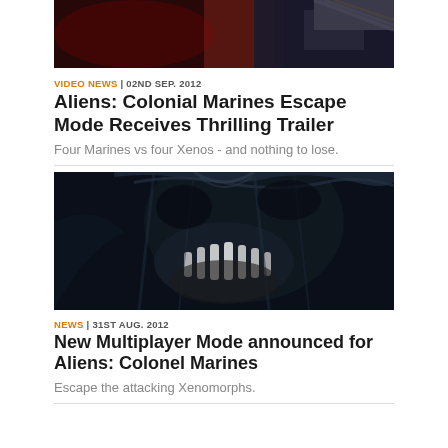[Figure (photo): Top portion of a dark action scene photo, partially cropped at top of page]
VIDEO NEWS | 02ND SEP. 2012
Aliens: Colonial Marines Escape Mode Receives Thrilling Trailer
Four Marines vs four Xenos - and nothing to lose.
[Figure (photo): Close-up photo of a Xenomorph alien creature from Aliens: Colonial Marines, dark blue tones]
NEWS | 31ST AUG. 2012
New Multiplayer Mode announced for Aliens: Colonel Marines
Escape the attacking Xenomorphs.